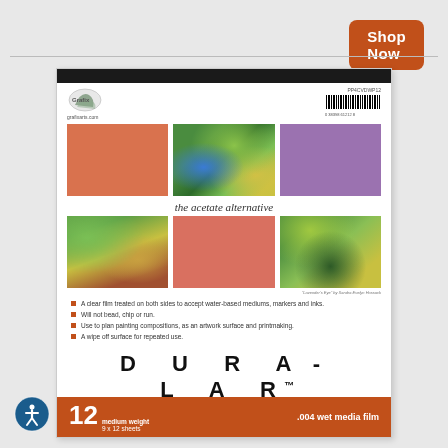[Figure (other): Shop Now button - orange rounded rectangle with white text]
[Figure (photo): Dura-Lar product pad packaging showing six sample images (orange solid, forest/colorful painting, purple solid, forest painting, salmon/coral solid, forest painting), brand logo, barcode, tagline 'the acetate alternative', bullet points, DURA-LAR brand name, and red footer bar with product specs]
[Figure (logo): Accessibility icon - circular blue badge with human figure]